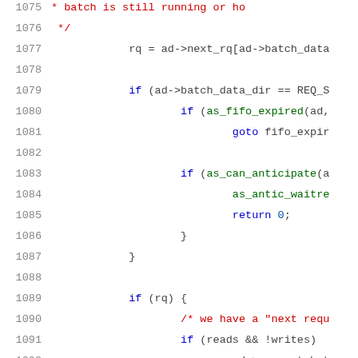[Figure (screenshot): Source code snippet (C language) showing lines 1075–1096 with syntax highlighting. Line numbers in gray on left, keywords in blue, comments in red, function names in green, identifiers in dark gray.]